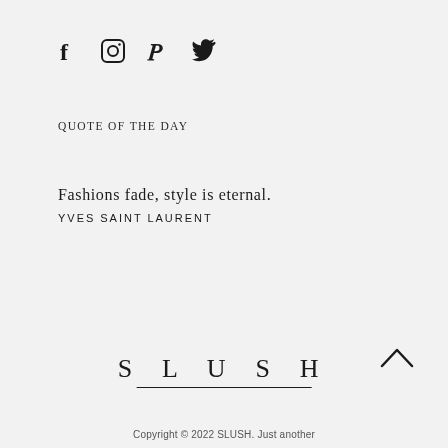[Figure (other): Social media icons: Facebook (f), Instagram (circle/square icon), Pinterest (P), Twitter (bird icon)]
QUOTE OF THE DAY
Fashions fade, style is eternal.
YVES SAINT LAURENT
[Figure (logo): SLUSH logo text with underline]
Copyright © 2022 SLUSH. Just another